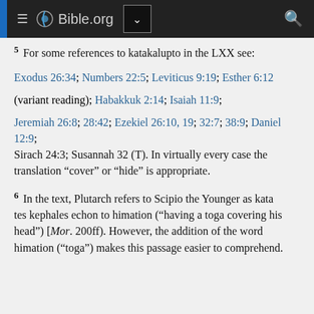[Figure (screenshot): Bible.org website header navigation bar with hamburger menu, logo, dropdown button, and search icon]
5  For some references to katakalupto in the LXX see:
Exodus 26:34; Numbers 22:5; Leviticus 9:19; Esther 6:12
(variant reading); Habakkuk 2:14; Isaiah 11:9;
Jeremiah 26:8; 28:42; Ezekiel 26:10, 19; 32:7; 38:9; Daniel 12:9; Sirach 24:3; Susannah 32 (T). In virtually every case the translation “cover” or “hide” is appropriate.
6  In the text, Plutarch refers to Scipio the Younger as kata tes kephales echon to himation (“having a toga covering his head”) [Mor. 200ff). However, the addition of the word himation (“toga”) makes this passage easier to comprehend.